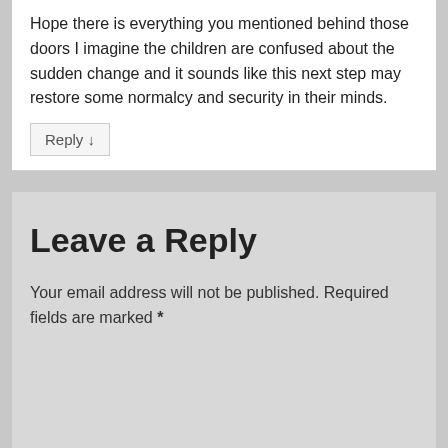Hope there is everything you mentioned behind those doors I imagine the children are confused about the sudden change and it sounds like this next step may restore some normalcy and security in their minds.
Reply ↓
Leave a Reply
Your email address will not be published. Required fields are marked *
Comment *